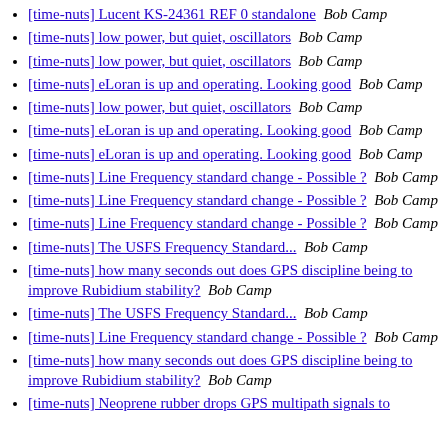[time-nuts] Lucent KS-24361 REF 0 standalone   Bob Camp
[time-nuts] low power, but quiet, oscillators   Bob Camp
[time-nuts] low power, but quiet, oscillators   Bob Camp
[time-nuts] eLoran is up and operating. Looking good   Bob Camp
[time-nuts] low power, but quiet, oscillators   Bob Camp
[time-nuts] eLoran is up and operating. Looking good   Bob Camp
[time-nuts] eLoran is up and operating. Looking good   Bob Camp
[time-nuts] Line Frequency standard change - Possible ?   Bob Camp
[time-nuts] Line Frequency standard change - Possible ?   Bob Camp
[time-nuts] Line Frequency standard change - Possible ?   Bob Camp
[time-nuts] The USFS Frequency Standard...   Bob Camp
[time-nuts] how many seconds out does GPS discipline being to improve Rubidium stability?   Bob Camp
[time-nuts] The USFS Frequency Standard...   Bob Camp
[time-nuts] Line Frequency standard change - Possible ?   Bob Camp
[time-nuts] how many seconds out does GPS discipline being to improve Rubidium stability?   Bob Camp
[time-nuts] Neoprene rubber drops GPS multipath signals to